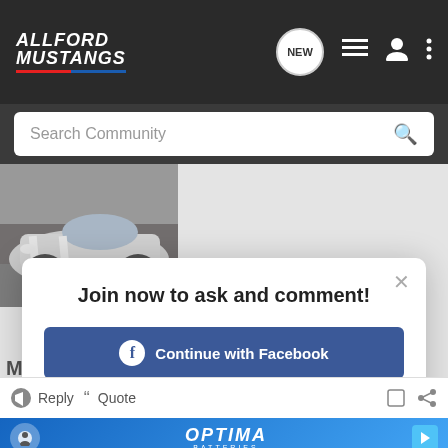[Figure (screenshot): AllFord Mustangs community forum header with logo, NEW badge, list icon, user icon, dots menu]
Search Community
[Figure (photo): Silver Ford Mustang car viewed from front-top angle]
Join now to ask and comment!
Continue with Facebook
Continue with Google
or sign up with email
M
Reply  Quote
[Figure (logo): OPTIMA BATTERIES advertisement banner]